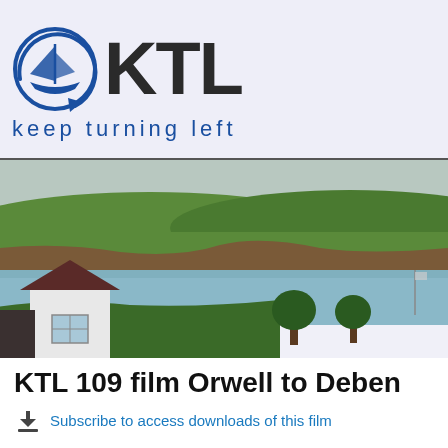[Figure (logo): KTL (Keep Turning Left) logo with sailboat icon and bold KTL lettering, tagline 'keep turning left' in blue]
[Figure (photo): Coastal landscape photo showing green fields, cliffs, a bay with water, and a white house with dark roof in the foreground, trees visible]
KTL 109 film Orwell to Deben
Subscribe to access downloads of this film